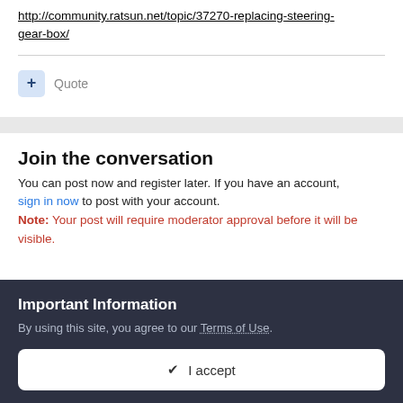http://community.ratsun.net/topic/37270-replacing-steering-gear-box/
+ Quote
Join the conversation
You can post now and register later. If you have an account, sign in now to post with your account. Note: Your post will require moderator approval before it will be visible.
Important Information
By using this site, you agree to our Terms of Use.
✓  I accept